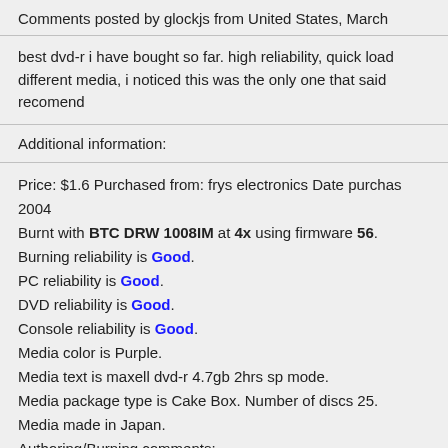Comments posted by glockjs from United States, March
best dvd-r i have bought so far. high reliability, quick load different media, i noticed this was the only one that said recomend
Additional information:
Price: $1.6 Purchased from: frys electronics Date purchas 2004
Burnt with BTC DRW 1008IM at 4x using firmware 56.
Burning reliability is Good.
PC reliability is Good.
DVD reliability is Good.
Console reliability is Good.
Media color is Purple.
Media text is maxell dvd-r 4.7gb 2hrs sp mode.
Media package type is Cake Box. Number of discs 25.
Media made in Japan.
Authoring/Burning comments:
dvd shrink, nero